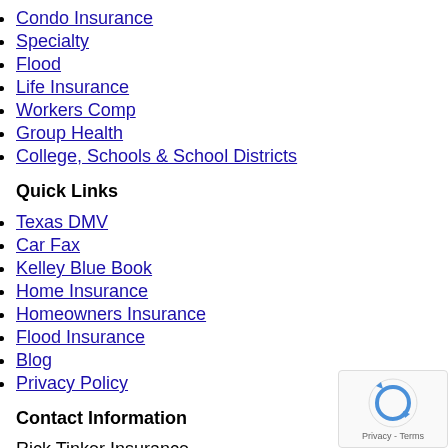Condo Insurance
Specialty
Flood
Life Insurance
Workers Comp
Group Health
College, Schools & School Districts
Quick Links
Texas DMV
Car Fax
Kelley Blue Book
Home Insurance
Homeowners Insurance
Flood Insurance
Blog
Privacy Policy
Contact Information
Rick Tinker Insurance
2206 E. Broadway Ste E2
Pearland, TX 77581